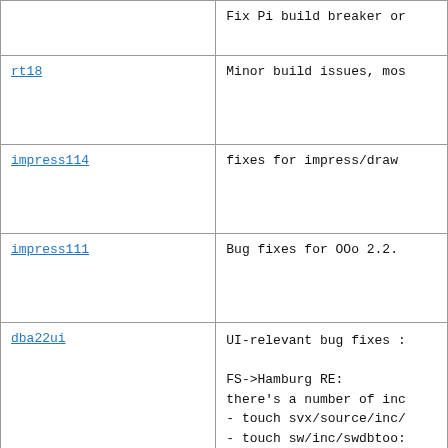|  | Fix Pi build breaker or... |
| rt18 | Minor build issues, mos... |
| impress114 | fixes for impress/draw... |
| impress111 | Bug fixes for OOo 2.2.... |
| dba22ui | UI-relevant bug fixes ...

FS->Hamburg RE:
there's a number of inc...
- touch svx/source/inc/...
- touch sw/inc/swdbtoo...
- remove dbaccess'es ou... safe side)
- ensure offuh is buil...
after integration of th... |
| obo08 |  |
| oc90 |  |